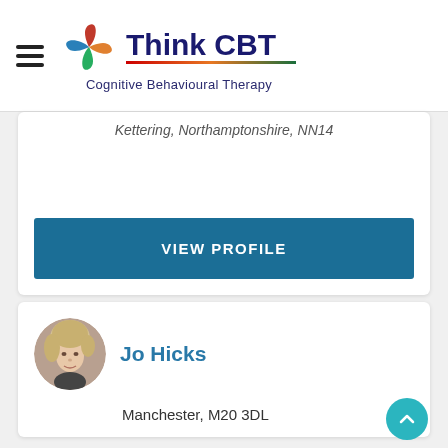Think CBT – Cognitive Behavioural Therapy
Kettering, Northamptonshire, NN14
VIEW PROFILE
Jo Hicks
Manchester, M20 3DL